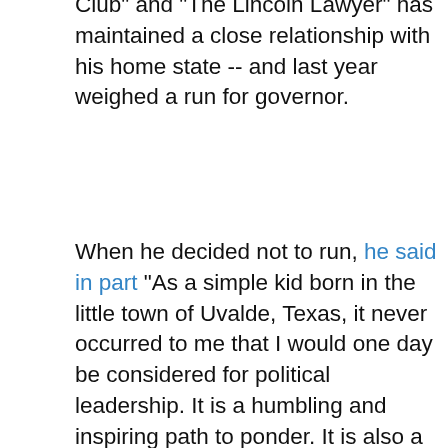The star of movies such as "Dallas Buyers Club" and "The Lincoln Lawyer" has maintained a close relationship with his home state -- and last year weighed a run for governor.
When he decided not to run, he said in part "As a simple kid born in the little town of Uvalde, Texas, it never occurred to me that I would one day be considered for political leadership. It is a humbling and inspiring path to ponder. It is also a path that I'm choosing not to take at this moment."
RELATED IMAGES
[Figure (photo): Photo of a dark brown cowboy hat on a wooden surface]